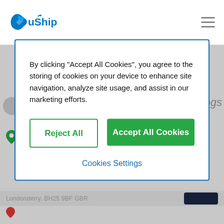uShip logo and navigation
Dogs
Ballymena, BT44 8JJ GBR
By clicking “Accept All Cookies”, you agree to the storing of cookies on your device to enhance site navigation, analyze site usage, and assist in our marketing efforts.
Reject All
Accept All Cookies
Cookies Settings
Londonderry, BH25 9BF GBR